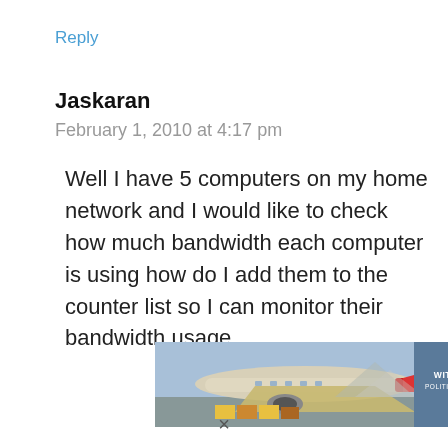Reply
Jaskaran
February 1, 2010 at 4:17 pm
Well I have 5 computers on my home network and I would like to check how much bandwidth each computer is using how do I add them to the counter list so I can monitor their bandwidth usage
[Figure (photo): Advertisement banner showing an airplane being loaded with cargo, with text overlay reading WITHOUT REGARD TO POLITICS, RELIGION, OR HEALTH TO HA...]